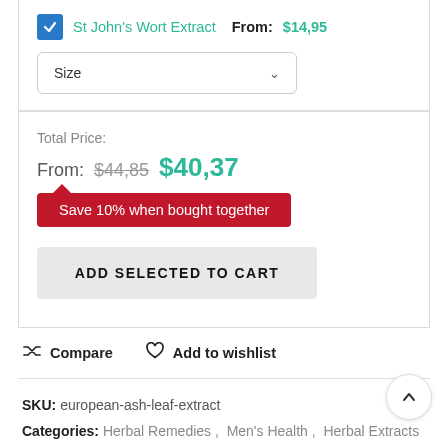St John's Wort Extract  From: $14,95
Size
Total Price:
From: $44,85  $40,37
Save 10% when bought together
ADD SELECTED TO CART
Compare   Add to wishlist
SKU: european-ash-leaf-extract
Categories: Herbal Remedies, Men's Health, Herbal Extracts,
Herbal Extract for Skin